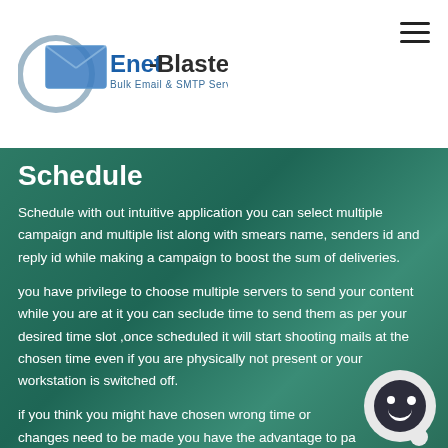Enet-Blaster Bulk Email & SMTP Server
Schedule
Schedule with out intuitive application you can select multiple campaign and multiple list along with smears name, senders id and reply id while making a campaign to boost the sum of deliveries.
you have privilege to choose multiple servers to send your content while you are at it you can seclude time to send them as per your desired time slot ,once scheduled it will start shooting mails at the chosen time even if you are physically not present or your workstation is switched off.
if you think you might have chosen wrong time or changes need to be made you have the advantage to pa...